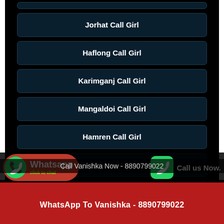Jorhat Call Girl
Haflong Call Girl
Karimganj Call Girl
Mangaldoi Call Girl
Hamren Call Girl
Lumding Call Girl
Rangiya Call Girl
Call Vanishka Now - 8890799022
WhatsApp To Vanishka - 8890799022